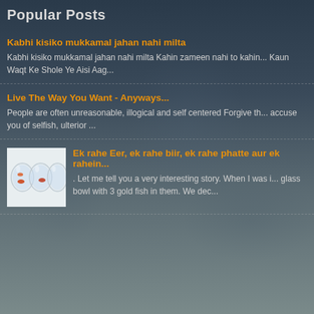Popular Posts
Kabhi kisiko mukkamal jahan nahi milta
Kabhi kisiko mukkamal jahan nahi milta Kahin zameen nahi to kahin... Kaun Waqt Ke Shole Ye Aisi Aag...
Live The Way You Want - Anyways...
People are often unreasonable, illogical and self centered Forgive th... accuse you of selfish, ulterior ...
[Figure (photo): Thumbnail image showing fish bowls with goldfish]
Ek rahe Eer, ek rahe biir, ek rahe phatte aur ek rahein...
. Let me tell you a very interesting story. When I was i... glass bowl with 3 gold fish in them. We dec...